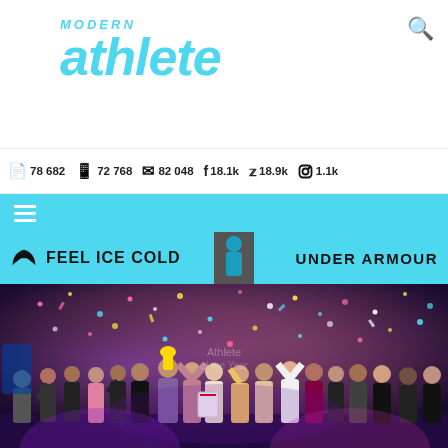MODERN athlete
78682  72 768  82 048  18.1k  18.9k  1.1k
[Figure (photo): Modern Athlete magazine website header with logo, social media follower counts, navigation bar, and a photo of an awards ceremony event with people on stage celebrating under confetti with an Under Armour Feel Ice Cold banner]